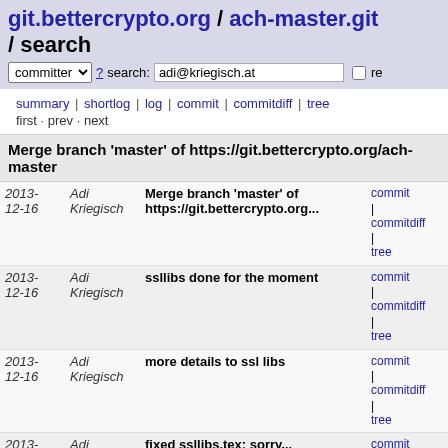git.bettercrypto.org / ach-master.git / search
committer ? search: adi@kriegisch.at re
summary | shortlog | log | commit | commitdiff | tree
first · prev · next
Merge branch 'master' of https://git.bettercrypto.org/ach-master
| Date | Author | Message | Links |
| --- | --- | --- | --- |
| 2013-12-16 | Adi Kriegisch | Merge branch 'master' of https://git.bettercrypto.org... | commit | commitdiff | tree |
| 2013-12-16 | Adi Kriegisch | ssllibs done for the moment | commit | commitdiff | tree |
| 2013-12-16 | Adi Kriegisch | more details to ssl libs | commit | commitdiff | tree |
| 2013-12-16 | Adi Kriegisch | fixed ssllibs.tex; sorry... | commit | commitdiff | tree |
| 2013-12-16 | Adi Kriegisch | added more details to ssl libs | commit | commitdiff | tree |
| 2013-12-16 | Adi Kriegisch | Merge branch 'master' of https://git.bettercrypto.org... | commit | commitdiff | tree |
| 2013-12-16 | Adi Kriegisch | fixed 'MAC algortithm' inconsistency (thanks to Rainer... | commit | commitdiff | tree |
| 2013-12-09 | Adi Kriegisch | updated a footnote to bibtex | commit | commitdiff | tree |
| 2013- | Adi Kriegisch | moved footnotes to bibtex | commit | commitdiff |